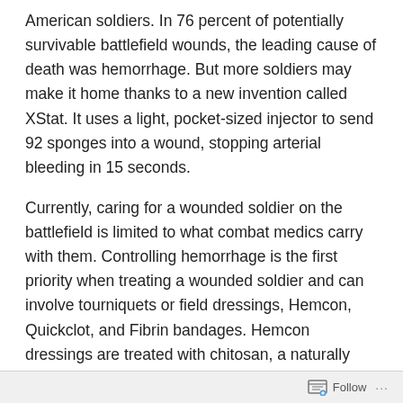American soldiers. In 76 percent of potentially survivable battlefield wounds, the leading cause of death was hemorrhage. But more soldiers may make it home thanks to a new invention called XStat. It uses a light, pocket-sized injector to send 92 sponges into a wound, stopping arterial bleeding in 15 seconds.
Currently, caring for a wounded soldier on the battlefield is limited to what combat medics carry with them. Controlling hemorrhage is the first priority when treating a wounded soldier and can involve tourniquets or field dressings, Hemcon, Quickclot, and Fibrin bandages. Hemcon dressings are treated with chitosan, a naturally occurring biocompatible compound from shrimp shells that strongly adheres to blood and reduces blood clotting times.
Follow ···